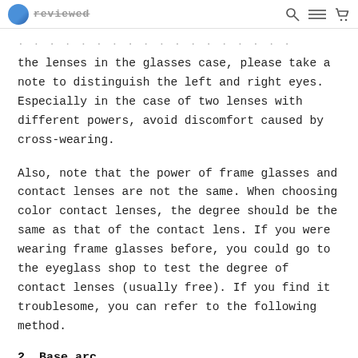[logo] [search] [menu] [cart]
the lenses in the glasses case, please take a note to distinguish the left and right eyes. Especially in the case of two lenses with different powers, avoid discomfort caused by cross-wearing.
Also, note that the power of frame glasses and contact lenses are not the same. When choosing color contact lenses, the degree should be the same as that of the contact lens. If you were wearing frame glasses before, you could go to the eyeglass shop to test the degree of contact lenses (usually free). If you find it troublesome, you can refer to the following method.
2. Base arc.